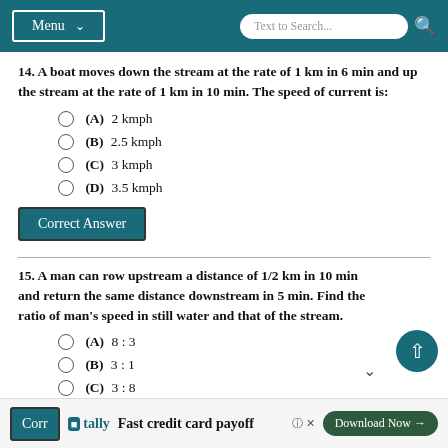Menu | Text to Search...
14. A boat moves down the stream at the rate of 1 km in 6 min and up the stream at the rate of 1 km in 10 min. The speed of current is:
(A) 2 kmph
(B) 2.5 kmph
(C) 3 kmph
(D) 3.5 kmph
Correct Answer
15. A man can row upstream a distance of 1/2 km in 10 min and return the same distance downstream in 5 min. Find the ratio of man's speed in still water and that of the stream.
(A) 8 : 3
(B) 3 : 1
(C) 3 : 8
Correct Answer
Fast credit card payoff